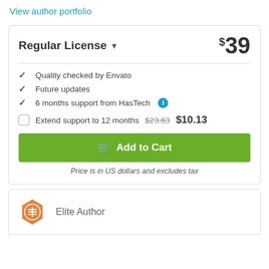View author portfolio
Regular License
$39
Quality checked by Envato
Future updates
6 months support from HasTech
Extend support to 12 months $23.63 $10.13
Add to Cart
Price is in US dollars and excludes tax
Elite Author